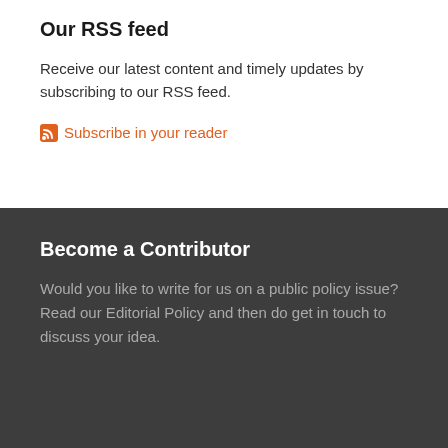Our RSS feed
Receive our latest content and timely updates by subscribing to our RSS feed.
Subscribe in your reader
Become a Contributor
Would you like to write for us on a public policy issue? Read our Editorial Policy and then do get in touch to discuss your idea.